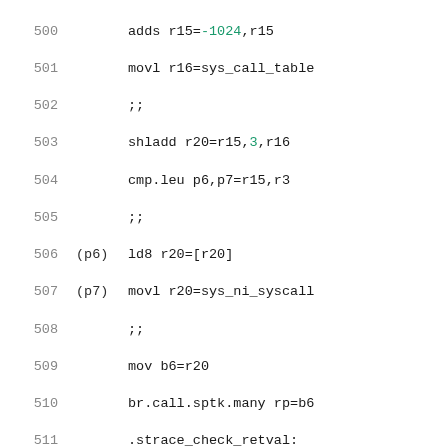Assembly code listing lines 500-520
500     adds r15=-1024,r15
501     movl r16=sys_call_table
502     ;;
503     shladd r20=r15,3,r16
504     cmp.leu p6,p7=r15,r3
505     ;;
506 (p6) ld8 r20=[r20]
507 (p7) movl r20=sys_ni_syscall
508     ;;
509     mov b6=r20
510     br.call.sptk.many rp=b6
511 .strace_check_retval:
512     cmp.lt p6,p0=r8,r0
513     adds r2=PT(R8)+16,sp
514     adds r3=PT(R10)+16,sp
515     mov r10=0
516 (p6) br.cond.sptk strace_error
517     ;;
518 .strace_save_retval:
519 .mem.offset 0,0; st8.spill [r2]=r8
520 .mem.offset 8,0; st8.spill [r3]=r10